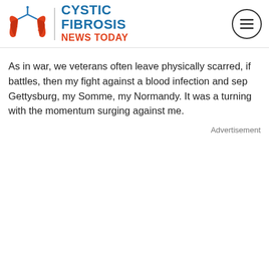Cystic Fibrosis News Today
As in war, we veterans often leave physically scarred, if battles, then my fight against a blood infection and sep Gettysburg, my Somme, my Normandy. It was a turning with the momentum surging against me.
Advertisement